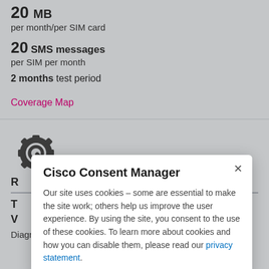20 MB
per month/per SIM card
20 SMS messages
per SIM per month
2 months test period
Coverage Map
[Figure (illustration): Gear/wrench icon representing settings or diagnostics]
R
T
V
Diagnostics and troubleshooting help
Cisco Consent Manager
Our site uses cookies - some are essential to make the site work; others help us improve the user experience. By using the site, you consent to the use of these cookies. To learn more about cookies and how you can disable them, please read our privacy statement.